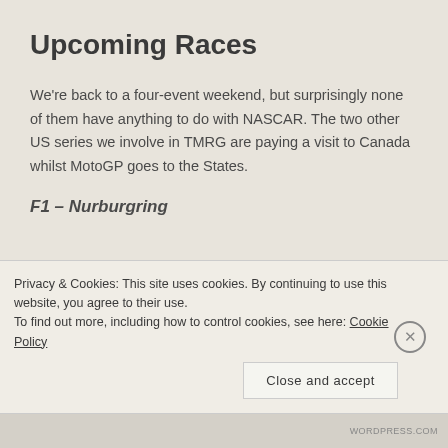Upcoming Races
We're back to a four-event weekend, but surprisingly none of them have anything to do with NASCAR. The two other US series we involve in TMRG are paying a visit to Canada whilst MotoGP goes to the States.
F1 – Nurburgring
Privacy & Cookies: This site uses cookies. By continuing to use this website, you agree to their use.
To find out more, including how to control cookies, see here: Cookie Policy
Close and accept